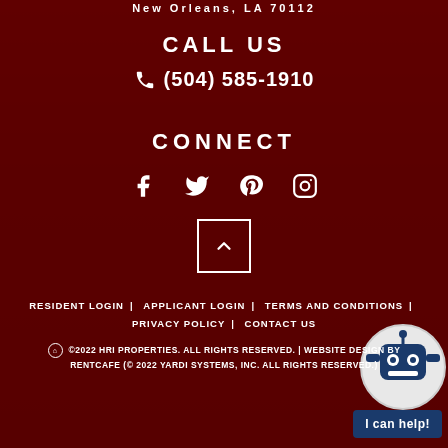New Orleans, LA 70112
CALL US
(504) 585-1910
CONNECT
[Figure (illustration): Social media icons: Facebook, Twitter, Pinterest, Instagram]
[Figure (illustration): Scroll-to-top button with upward caret]
RESIDENT LOGIN | APPLICANT LOGIN | TERMS AND CONDITIONS | PRIVACY POLICY | CONTACT US
©2022 HRI PROPERTIES. ALL RIGHTS RESERVED. | WEBSITE DESIGN BY RENTCAFE (© 2022 YARDI SYSTEMS, INC. ALL RIGHTS RESERVED.)
[Figure (illustration): Chat bot robot icon and 'I can help!' button]